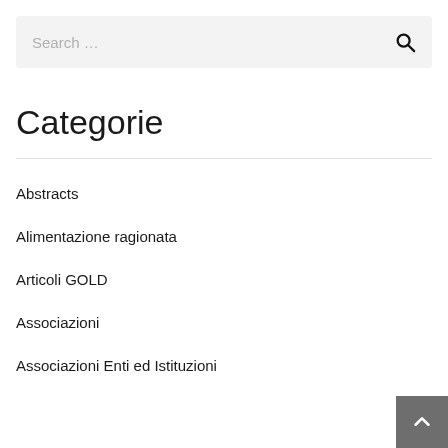[Figure (screenshot): Search bar with placeholder text 'Search ...' and a search icon on the right]
Categorie
Abstracts
Alimentazione ragionata
Articoli GOLD
Associazioni
Associazioni Enti ed Istituzioni